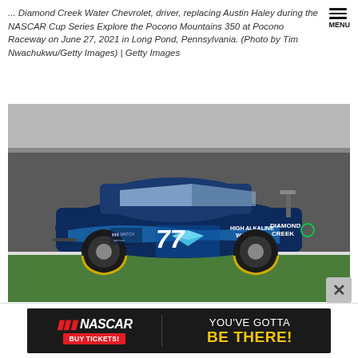MENU
... Diamond Creek Water Chevrolet, driver, replacing Austin Haley during the NASCAR Cup Series Explore the Pocono Mountains 350 at Pocono Raceway on June 27, 2021 in Long Pond, Pennsylvania. (Photo by Tim Nwachukwu/Getty Images) | Getty Images
[Figure (photo): NASCAR Cup Series stock car #77 Diamond Creek High Alkaline Water Chevrolet racing at Pocono Raceway, dark blue livery with diamond logo and '77' number on door]
[Figure (other): NASCAR advertisement banner: NASCAR logo with 'BUY TICKETS!' button on left, 'YOU'VE GOTTA BE THERE!' text on right with yellow accent]